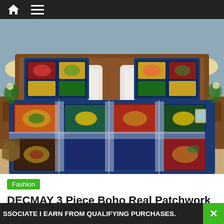Navigation bar with home and menu icons
[Figure (photo): A decorative Boho patchwork quilt set displayed on a bed in a bedroom setting. The quilt features colorful patchwork squares with floral and paisley patterns in navy blue, red, green, and gold. The bed has matching pillow shams. Nightstands with lamps are visible on each side.]
Fashion
DECMAY 3 Piece Boho Real Patchwork
SSOCIATE I EARN FROM QUALIFYING PURCHASES.